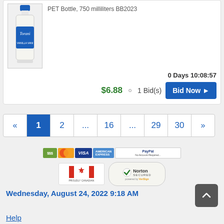PET Bottle, 750 milliliters BB2023
0 Days 10:08:57
$6.88  :  1 Bid(s)
Bid Now ›
« 1 2 ... 16 ... 29 30 »
[Figure (logo): Payment method icons: cash, MasterCard, Visa, Amex, PayPal No Account Required; Proudly Canadian badge; Norton Secured powered by VeriSign badge]
Wednesday, August 24, 2022 9:18 AM
Help